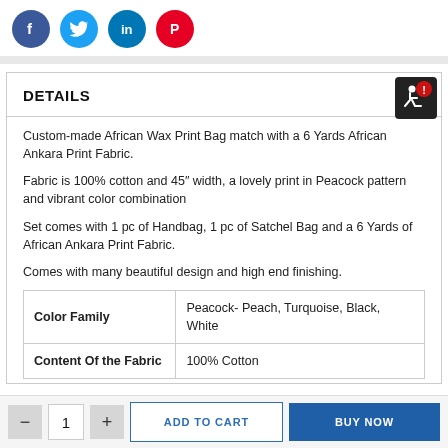[Figure (illustration): Social share icons: Facebook (blue circle, f), Twitter (light blue circle, bird), LinkedIn (dark blue circle, in), Pinterest (red circle, P)]
DETAILS
Custom-made African Wax Print Bag match with a 6 Yards African Ankara Print Fabric.
Fabric is 100% cotton and 45" width, a lovely print in Peacock pattern and vibrant color combination
Set comes with 1 pc of Handbag, 1 pc of Satchel Bag and a 6 Yards of African Ankara Print Fabric.
Comes with many beautiful design and high end finishing.
| Color Family | Peacock- Peach, Turquoise, Black, White |
| Content Of the Fabric | 100% Cotton |
— 1 + ADD TO CART BUY NOW